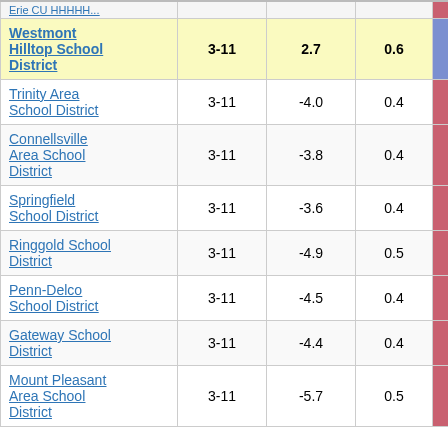| School District | Grades | Col3 | Col4 | Score |
| --- | --- | --- | --- | --- |
| Westmont Hilltop School District | 3-11 | 2.7 | 0.6 | 4.21 |
| Trinity Area School District | 3-11 | -4.0 | 0.4 | -10.13 |
| Connellsville Area School District | 3-11 | -3.8 | 0.4 | -10.18 |
| Springfield School District | 3-11 | -3.6 | 0.4 | -10.34 |
| Ringgold School District | 3-11 | -4.9 | 0.5 | -10.49 |
| Penn-Delco School District | 3-11 | -4.5 | 0.4 | -10.57 |
| Gateway School District | 3-11 | -4.4 | 0.4 | -10.58 |
| Mount Pleasant Area School District | 3-11 | -5.7 | 0.5 | -10.59 |